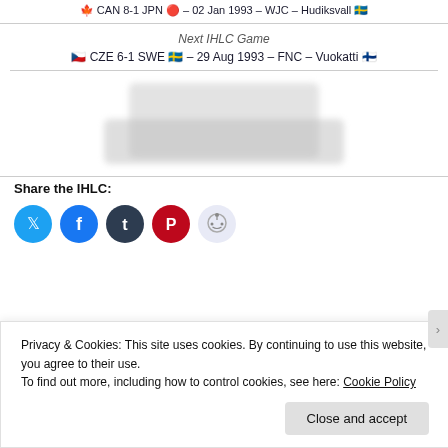CAN 8-1 JPN – 02 Jan 1993 – WJC – Hudiksvall
Next IHLC Game
CZE 6-1 SWE – 29 Aug 1993 – FNC – Vuokatti
[Figure (other): Blurred/obscured image placeholder area]
Share the IHLC:
[Figure (other): Social share icons: Twitter, Facebook, Tumblr, Pinterest, Reddit]
Privacy & Cookies: This site uses cookies. By continuing to use this website, you agree to their use.
To find out more, including how to control cookies, see here: Cookie Policy
Close and accept